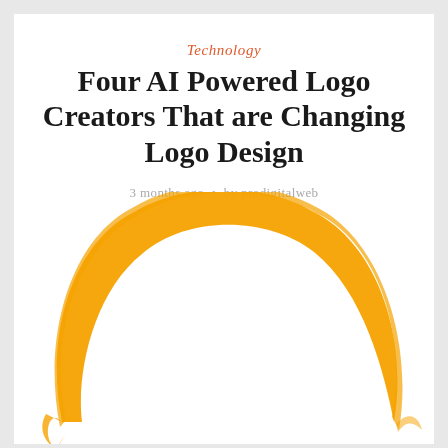Technology
Four AI Powered Logo Creators That are Changing Logo Design
3 months ago • by prodigitalweb
[Figure (illustration): Large orange brushstroke circle (Ensō-style) illustration, partially visible, showing the upper arc of an orange painted ring on a white background.]